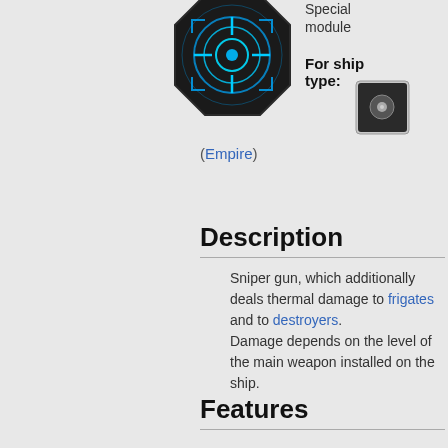[Figure (illustration): Blue crosshair/sniper scope icon on dark octagonal background — special module icon]
Special module
For ship type:
[Figure (illustration): Small circular ship type icon — dark with white dot, Empire faction]
(Empire)
Description
Sniper gun, which additionally deals thermal damage to frigates and to destroyers. Damage depends on the level of the main weapon installed on the ship.
Features